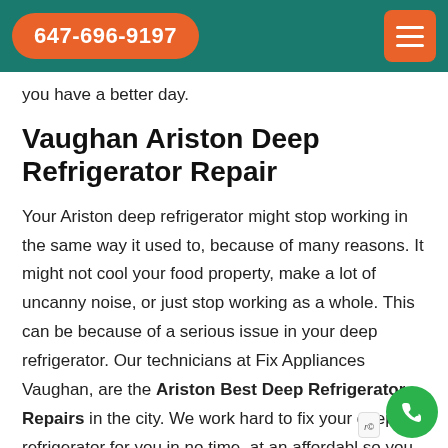647-696-9197
you have a better day.
Vaughan Ariston Deep Refrigerator Repair
Your Ariston deep refrigerator might stop working in the same way it used to, because of many reasons. It might not cool your food property, make a lot of uncanny noise, or just stop working as a whole. This can be because of a serious issue in your deep refrigerator. Our technicians at Fix Appliances Vaughan, are the Ariston Best Deep Refrigerator Repairs in the city. We work hard to fix your deep refrigerator for you in no time, at an affordabl so you can return to your regular, comfortable